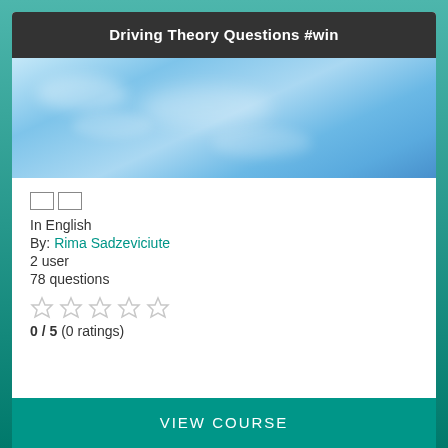Driving Theory Questions #win
[Figure (photo): Blue sky with white clouds — course thumbnail image]
□□
In English
By: Rima Sadzeviciute
2 user
78 questions
[Figure (other): 5 empty star rating icons in light grey]
0 / 5 (0 ratings)
VIEW COURSE